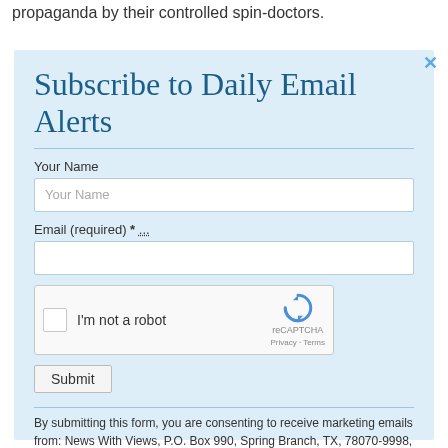propaganda by their controlled spin-doctors.
Subscribe to Daily Email Alerts
Your Name
Email (required) *
[Figure (screenshot): reCAPTCHA widget with checkbox labeled 'I'm not a robot' and reCAPTCHA logo with Privacy - Terms links]
Submit
By submitting this form, you are consenting to receive marketing emails from: News With Views, P.O. Box 990, Spring Branch, TX, 78070-9998,